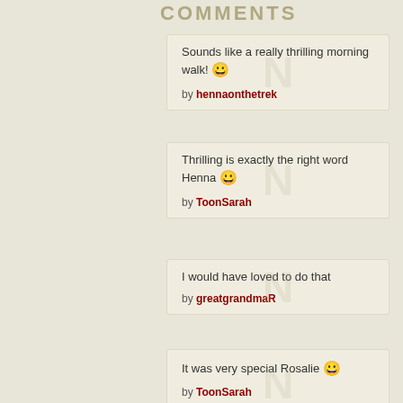COMMENTS
Sounds like a really thrilling morning walk! 😀 by hennaonthetrek
Thrilling is exactly the right word Henna 😀 by ToonSarah
I would have loved to do that by greatgrandmaR
It was very special Rosalie 😀 by ToonSarah